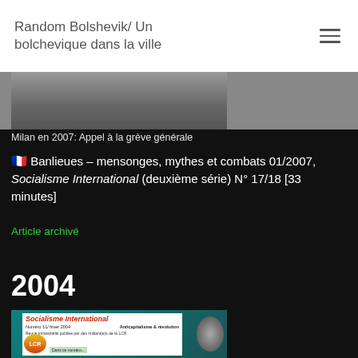Random Bolshevik/ Un bolchevique dans la ville
[Figure (photo): Partial photograph, dark tones, street scene]
Milan en 2007: Appel à la grève générale
🇫🇷 Banlieues – mensonges, mythes et combats 01/2007, Socialisme International (deuxième série) N° 17/18 [33 minutes]
Article archivé
2004
[Figure (photo): Cover of Socialisme International magazine, Numéro 11, hiver 2004, Anticapitalisme & révolution, revue trimestrielle publiée par des militant(e)s de la LCR]